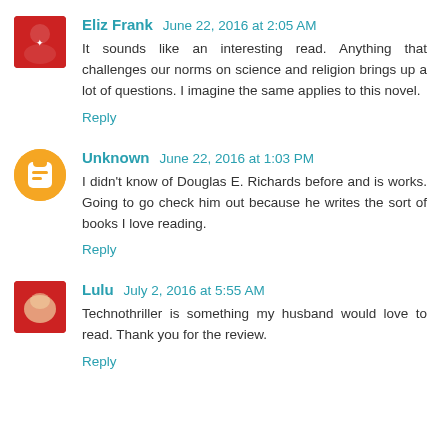Eliz Frank  June 22, 2016 at 2:05 AM
It sounds like an interesting read. Anything that challenges our norms on science and religion brings up a lot of questions. I imagine the same applies to this novel.
Reply
Unknown  June 22, 2016 at 1:03 PM
I didn't know of Douglas E. Richards before and is works. Going to go check him out because he writes the sort of books I love reading.
Reply
Lulu  July 2, 2016 at 5:55 AM
Technothriller is something my husband would love to read. Thank you for the review.
Reply